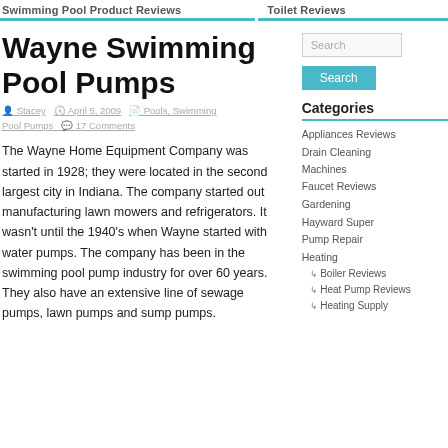Swimming Pool Product Reviews | Toilet Reviews
Wayne Swimming Pool Pumps
Stacey  April 5, 2009  Pools, Swimming Pool Pumps  17 Comments
The Wayne Home Equipment Company was started in 1928; they were located in the second largest city in Indiana. The company started out manufacturing lawn mowers and refrigerators. It wasn't until the 1940's when Wayne started with water pumps. The company has been in the swimming pool pump industry for over 60 years. They also have an extensive line of sewage pumps, lawn pumps and sump pumps.
Categories
Appliances Reviews
Drain Cleaning Machines
Faucet Reviews
Gardening
Hayward Super Pump Repair
Heating
↳ Boiler Reviews
↳ Heat Pump Reviews
↳ Heating Supply